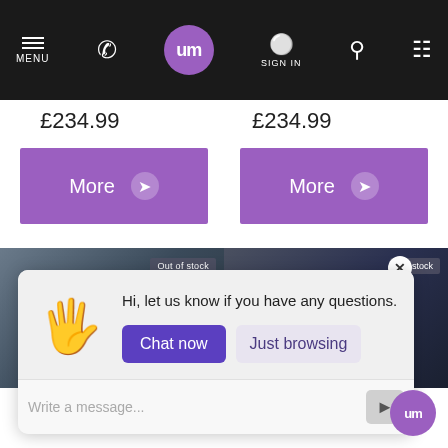MENU | um | SIGN IN
£234.99
£234.99
More
More
[Figure (screenshot): Product image left with Out of stock badge]
[Figure (screenshot): Product image right with X close button and out of stock badge]
Hi, let us know if you have any questions.
Chat now
Just browsing
Write a message...
Aqua Ultra-Slim
RGB k188 Clock Slim